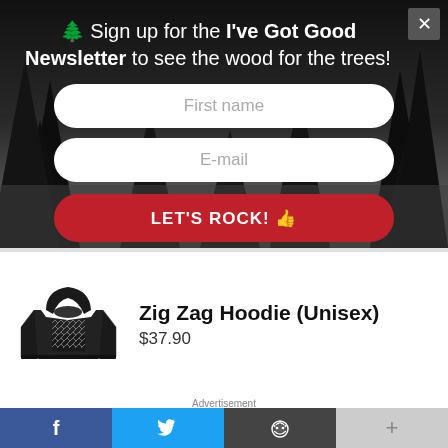🌲 Sign up for the I've Got Good Newsletter to see the wood for the trees!
First name
E-mail
LET'S ROCK! 👍
[Figure (photo): Black unisex hoodie with zig-zag pattern on front]
Zig Zag Hoodie (Unisex)
$37.90
Advertisement
[Figure (photo): Advertisement image showing hair close-up]
f
🐦
Reddit icon
+